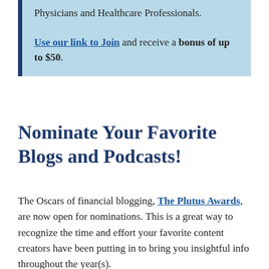Physicians and Healthcare Professionals. Use our link to Join and receive a bonus of up to $50.
Nominate Your Favorite Blogs and Podcasts!
The Oscars of financial blogging, The Plutus Awards, are now open for nominations. This is a great way to recognize the time and effort your favorite content creators have been putting in to bring you insightful info throughout the year(s).